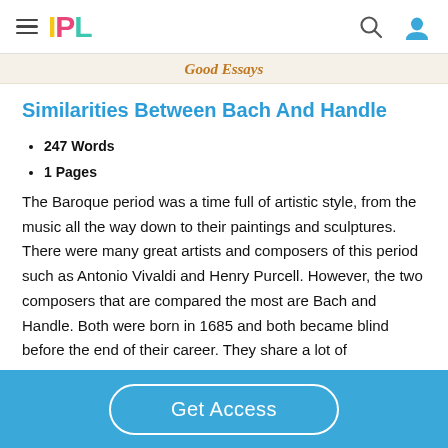IPL
Good Essays
Similarities Between Bach And Handle
247 Words
1 Pages
The Baroque period was a time full of artistic style, from the music all the way down to their paintings and sculptures. There were many great artists and composers of this period such as Antonio Vivaldi and Henry Purcell. However, the two composers that are compared the most are Bach and Handle. Both were born in 1685 and both became blind before the end of their career. They share a lot of
Get Access